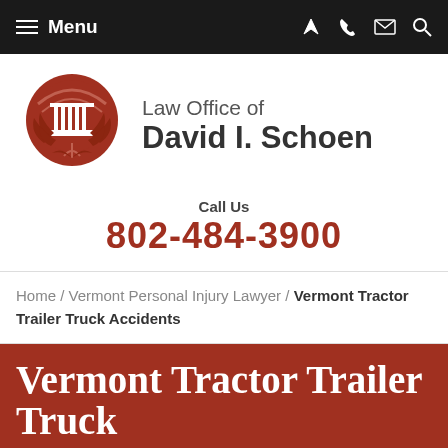Menu
[Figure (logo): Law Office of David I. Schoen circular logo with columns and leaves in dark red/brown]
Law Office of David I. Schoen
Call Us
802-484-3900
Home / Vermont Personal Injury Lawyer / Vermont Tractor Trailer Truck Accidents
Vermont Tractor Trailer Truck